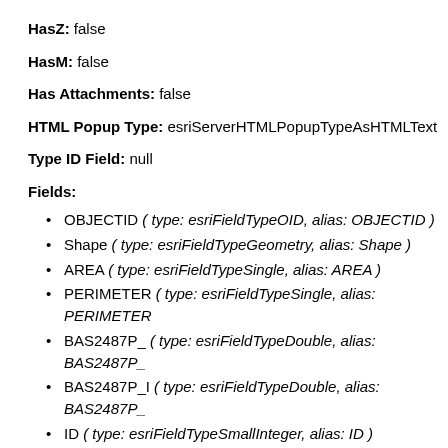HasZ: false
HasM: false
Has Attachments: false
HTML Popup Type: esriServerHTMLPopupTypeAsHTMLText
Type ID Field: null
Fields:
OBJECTID ( type: esriFieldTypeOID, alias: OBJECTID )
Shape ( type: esriFieldTypeGeometry, alias: Shape )
AREA ( type: esriFieldTypeSingle, alias: AREA )
PERIMETER ( type: esriFieldTypeSingle, alias: PERIMETER
BAS2487P_ ( type: esriFieldTypeDouble, alias: BAS2487P_
BAS2487P_I ( type: esriFieldTypeDouble, alias: BAS2487P_
ID ( type: esriFieldTypeSmallInteger, alias: ID )
SQM ( type: esriFieldTypeSingle, alias: SQM )
PT2487_ ( type: esriFieldTypeDouble, alias: PT2487_ )
PT2487_ID ( type: esriFieldTypeDouble, alias: PT2487_ID )
STRAHLER ( type: esriFieldTypeDouble, alias: STRAHLER )
Shape_Length ( type: esriFieldTypeDouble, alias: Shape_Len